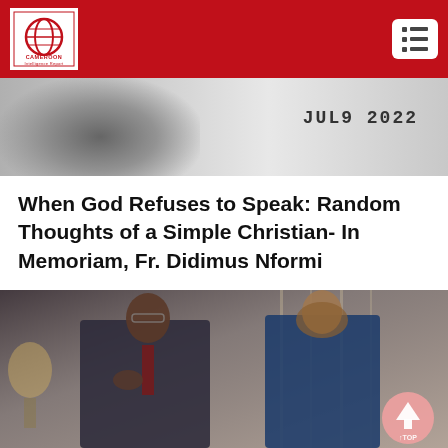Cameroon Intelligence Report
[Figure (photo): Partially blurred photo with date JUL9 2022 visible on right side]
When God Refuses to Speak: Random Thoughts of a Simple Christian- In Memoriam, Fr. Didimus Nformi
[Figure (photo): Photo of a man in a suit with his hand on his chest and a woman in a blue dress standing beside him, indoors with curtains and a lamp in background. A pink scroll-to-top button is overlaid at bottom right.]